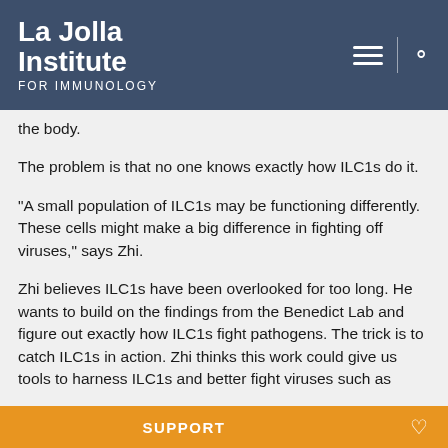La Jolla Institute FOR IMMUNOLOGY
the body.
The problem is that no one knows exactly how ILC1s do it.
“A small population of ILC1s may be functioning differently. These cells might make a big difference in fighting off viruses,” says Zhi.
Zhi believes ILC1s have been overlooked for too long. He wants to build on the findings from the Benedict Lab and figure out exactly how ILC1s fight pathogens. The trick is to catch ILC1s in action. Zhi thinks this work could give us tools to harness ILC1s and better fight viruses such as
SUPPORT